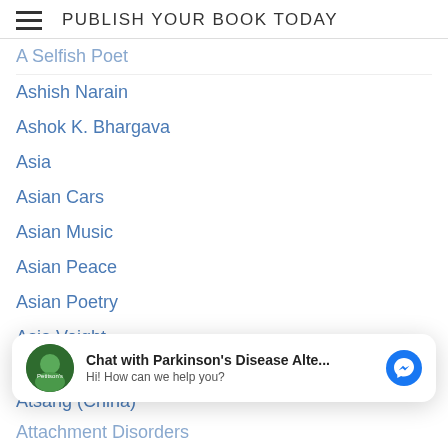PUBLISH YOUR BOOK TODAY
A Selfish Poet
Ashish Narain
Ashok K. Bhargava
Asia
Asian Cars
Asian Music
Asian Peace
Asian Poetry
Asia Voight
Asmabi College
A Society Of Souls
Asoke Kumar Mitra
Assamese
A Storied Career
[Figure (screenshot): Chat popup: Chat with Parkinson's Disease Alte... Hi! How can we help you?]
Atsang (China)
Attachment Disorders